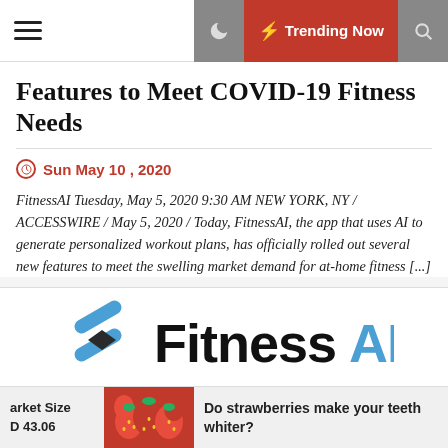Trending Now
Features to Meet COVID-19 Fitness Needs
Sun May 10 , 2020
FitnessAI Tuesday, May 5, 2020 9:30 AM NEW YORK, NY / ACCESSWIRE / May 5, 2020 / Today, FitnessAI, the app that uses AI to generate personalized workout plans, has officially rolled out several new features to meet the swelling market demand for at-home fitness [...]
[Figure (logo): FitnessAI logo with blue diagonal slash mark and text 'FitnessAI' in black and blue]
arket Size D 43.06   Do strawberries make your teeth whiter?